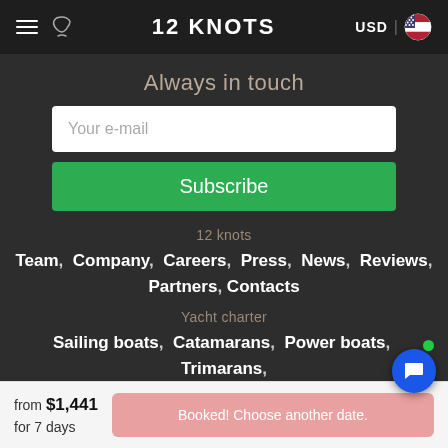12 KNOTS — USD | US flag
Always in touch
Your e-mail
Subscribe
12 knots
Team, Company, Careers, Press, News, Reviews, Partners, Contacts
Yacht charter
Sailing boats, Catamarans, Power boats, Trimarans, Gulets, Houseboats, Booking terms, Q&A
from $1,441 for 7 days
Booked! Choose another date.
Liveaboard couses, Shorebased courses,